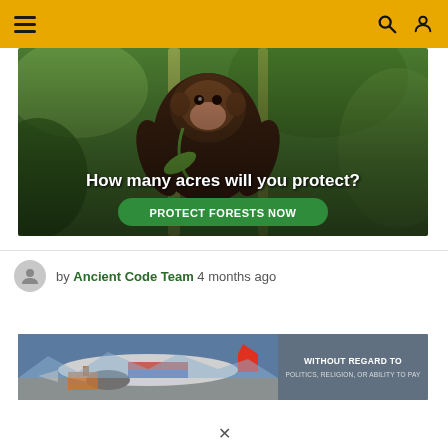Navigation header with hamburger menu, search and user icons on yellow background
[Figure (photo): Advertisement image with monkey in forest greenery. Text overlay: 'How many acres will you protect?' with a green 'PROTECT FORESTS NOW' button.]
by Ancient Code Team 4 months ago
[Figure (photo): Banner advertisement showing an airplane being loaded with cargo. Right side reads 'WITHOUT REGARD TO POLITICS, RELIGION, OR ABILITY TO PAY']